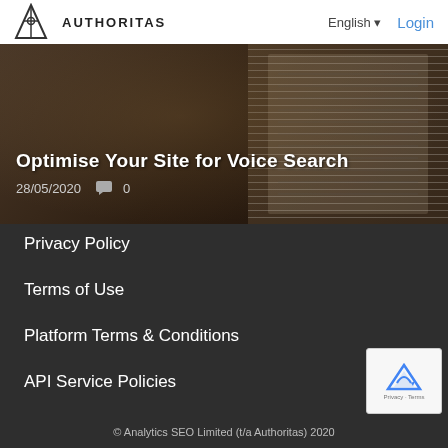AUTHORITAS | English | Login
[Figure (screenshot): Hero banner image with dark warm-toned background showing a document/paper texture on the right side, with title 'Optimise Your Site for Voice Search' and date '28/05/2020' with comment icon and count '0']
Privacy Policy
Terms of Use
Platform Terms & Conditions
API Service Policies
DPA
© Analytics SEO Limited (t/a Authoritas) 2020